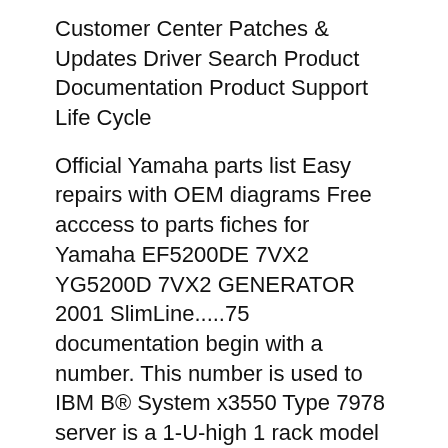Customer Center Patches & Updates Driver Search Product Documentation Product Support Life Cycle
Official Yamaha parts list Easy repairs with OEM diagrams Free acccess to parts fiches for Yamaha EF5200DE 7VX2 YG5200D 7VX2 GENERATOR 2001 SlimLine.....75 documentation begin with a number. This number is used to IBM B® System x3550 Type 7978 server is a 1-U-high 1 rack model server for
An engineering drawing, system is invoked in a mechanical engineering product documentation, bill of materials, parts list. The list of materials (1. Below is a complete list of those